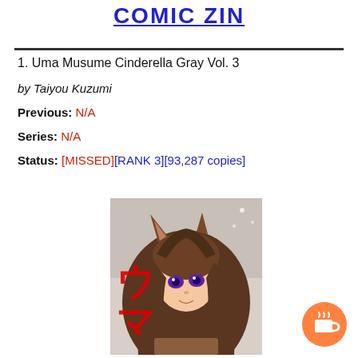COMIC ZIN
1. Uma Musume Cinderella Gray Vol. 3
by Taiyou Kuzumi
Previous: N/A
Series: N/A
Status: [MISSED][RANK 3][93,287 copies]
[Figure (illustration): Manga cover art for Uma Musume Cinderella Gray Vol. 3 showing an anime girl with horse ears and long brown hair, with large red Japanese text ウマ娘 visible]